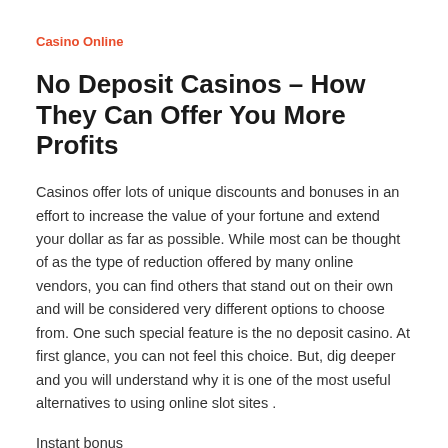Casino Online
No Deposit Casinos – How They Can Offer You More Profits
Casinos offer lots of unique discounts and bonuses in an effort to increase the value of your fortune and extend your dollar as far as possible. While most can be thought of as the type of reduction offered by many online vendors, you can find others that stand out on their own and will be considered very different options to choose from. One such special feature is the no deposit casino. At first glance, you can not feel this choice. But, dig deeper and you will understand why it is one of the most useful alternatives to using online slot sites .
Instant bonus
With no deposit casinos, one of the big advantages is the fact